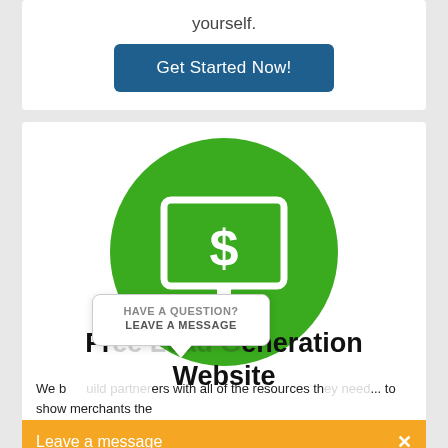yourself.
Get Started Now!
[Figure (illustration): Green circle with a white monitor/computer screen icon displaying a dollar sign, representing a money or revenue website concept]
HAVE A QUESTION?
LEAVE A MESSAGE
Fr...neration Website
We b...ers with all of the resources th... to show merchants the
Leave a message  ×